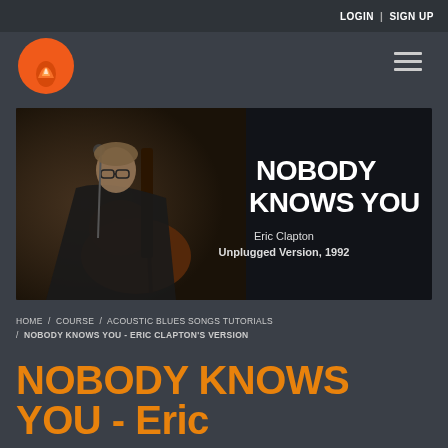LOGIN | SIGN UP
[Figure (logo): Orange circle logo with flame/guitar icon]
[Figure (photo): Black and white photo of Eric Clapton playing acoustic guitar at a microphone with overlay text: NOBODY KNOWS YOU / Eric Clapton / Unplugged Version, 1992]
HOME / COURSE / ACOUSTIC BLUES SONGS TUTORIALS / NOBODY KNOWS YOU - ERIC CLAPTON'S VERSION
NOBODY KNOWS YOU - Eric